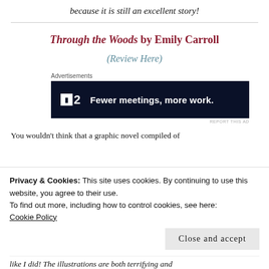because it is still an excellent story!
Through the Woods by Emily Carroll
(Review Here)
Advertisements
[Figure (screenshot): Advertisement banner for P2 with text 'Fewer meetings, more work.' on dark navy background]
You wouldn't think that a graphic novel compiled of
Privacy & Cookies: This site uses cookies. By continuing to use this website, you agree to their use.
To find out more, including how to control cookies, see here: Cookie Policy
Close and accept
like I did! The illustrations are both terrifying and